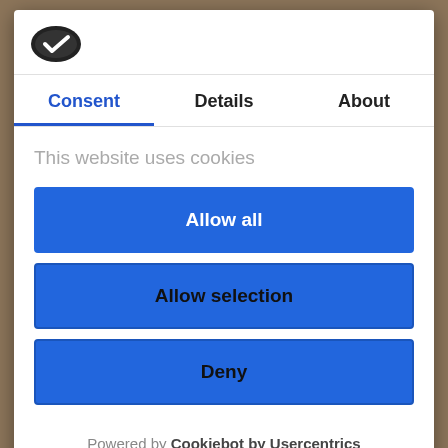[Figure (logo): Cookiebot cookie logo — dark oval shape with a checkmark]
Consent	Details	About
This website uses cookies
Allow all
Allow selection
Deny
Powered by Cookiebot by Usercentrics